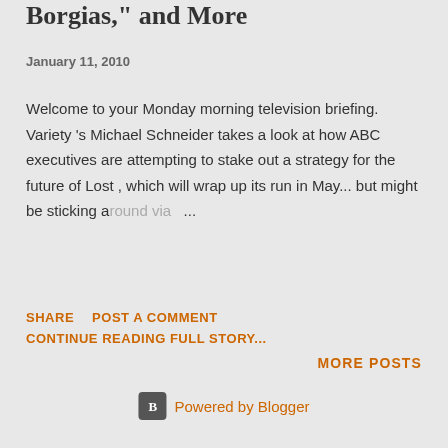Borgias," and More
January 11, 2010
Welcome to your Monday morning television briefing. Variety 's Michael Schneider takes a look at how ABC executives are attempting to stake out a strategy for the future of Lost , which will wrap up its run in May... but might be sticking around via ...
SHARE
POST A COMMENT
CONTINUE READING FULL STORY...
MORE POSTS
Powered by Blogger